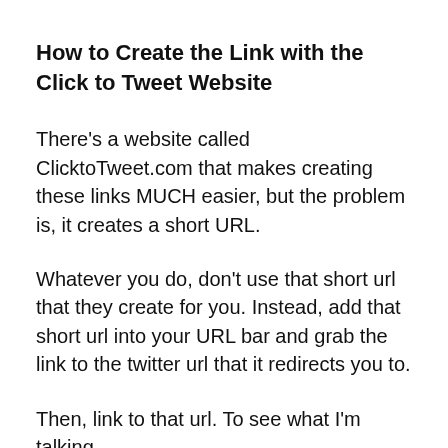How to Create the Link with the Click to Tweet Website
There's a website called ClicktoTweet.com that makes creating these links MUCH easier, but the problem is, it creates a short URL.
Whatever you do, don't use that short url that they create for you. Instead, add that short url into your URL bar and grab the link to the twitter url that it redirects you to.
Then, link to that url. To see what I'm talking about, be thi...